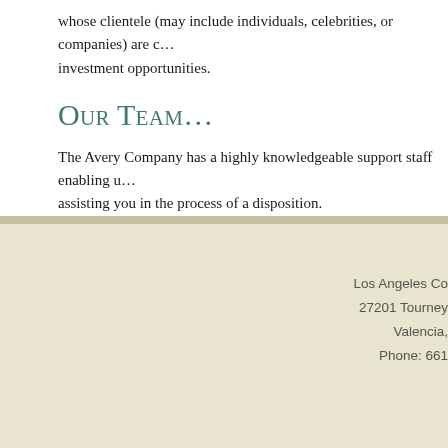whose clientele (may include individuals, celebrities, or companies) are c… investment opportunities.
Our Team…
The Avery Company has a highly knowledgeable support staff enabling u… assisting you in the process of a disposition.
Los Angeles Co
27201 Tourney 
Valencia, 
Phone: 661
© 2022 Avery Company   BRE License #00529334   WEBSITE BY fastu